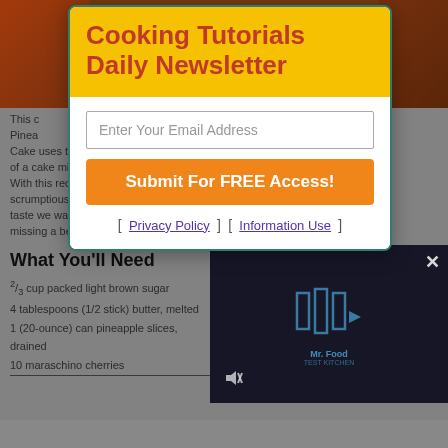Cooking Tutorials Daily Newsletter
Enter Your Email Address
Submit For FREE Access!
[ Privacy Policy ] [ Information Use ]
This Pineapple Upside-Down Cake uses the easy shortcut of a cake mix. And why not? With this recipe, we get the scrumptious "from scratch" taste we want without missing a beat in our busy lifes
What You'll Need
2/3 cup packed light brown sugar
4 tablespoons (1/2 stick) butter, melted
1 (20-ounce) can pineapple slices, drained
10 maraschino cherries